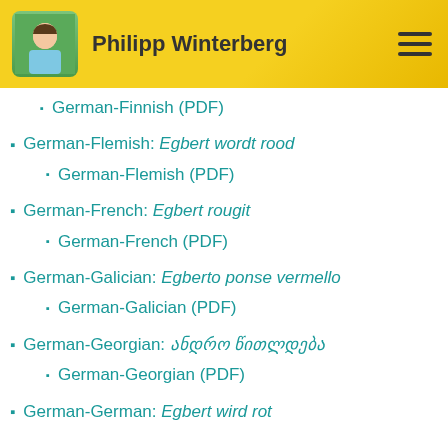Philipp Winterberg
German-Finnish (PDF)
German-Flemish: Egbert wordt rood
German-Flemish (PDF)
German-French: Egbert rougit
German-French (PDF)
German-Galician: Egberto ponse vermello
German-Galician (PDF)
German-Georgian: ანდრო წითლდება
German-Georgian (PDF)
German-German: Egbert wird rot